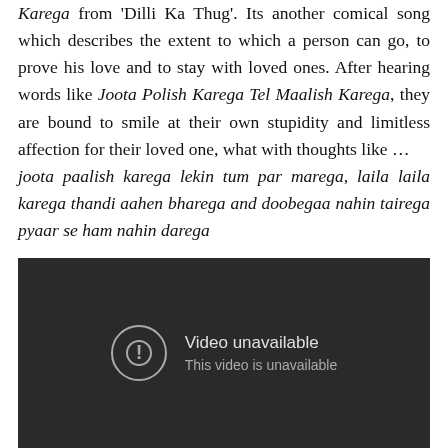Karega from 'Dilli Ka Thug'. Its another comical song which describes the extent to which a person can go, to prove his love and to stay with loved ones. After hearing words like Joota Polish Karega Tel Maalish Karega, they are bound to smile at their own stupidity and limitless affection for their loved one, what with thoughts like … joota paalish karega lekin tum par marega, laila laila karega thandi aahen bharega and doobegaa nahin tairega pyaar se ham nahin darega
[Figure (screenshot): Embedded video player showing 'Video unavailable - This video is unavailable' message on a dark background.]